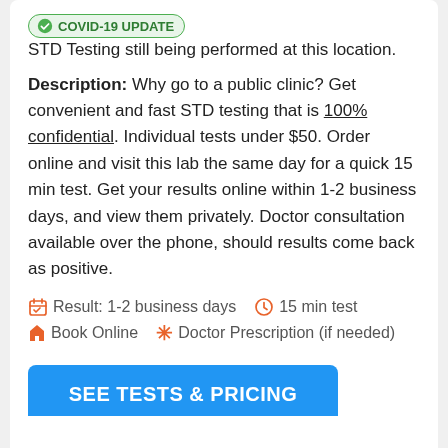COVID-19 UPDATE  STD Testing still being performed at this location.
Description: Why go to a public clinic? Get convenient and fast STD testing that is 100% confidential. Individual tests under $50. Order online and visit this lab the same day for a quick 15 min test. Get your results online within 1-2 business days, and view them privately. Doctor consultation available over the phone, should results come back as positive.
Result: 1-2 business days   15 min test
Book Online   Doctor Prescription (if needed)
SEE TESTS & PRICING